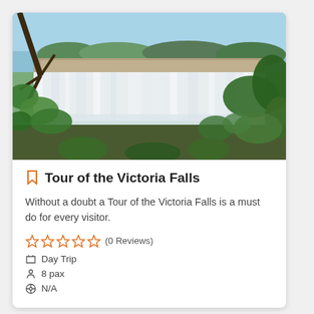[Figure (photo): Panoramic photo of Victoria Falls waterfall with green vegetation in foreground and blue sky above]
Tour of the Victoria Falls
Without a doubt a Tour of the Victoria Falls is a must do for every visitor.
☆☆☆☆☆ (0 Reviews)
Day Trip
8 pax
N/A